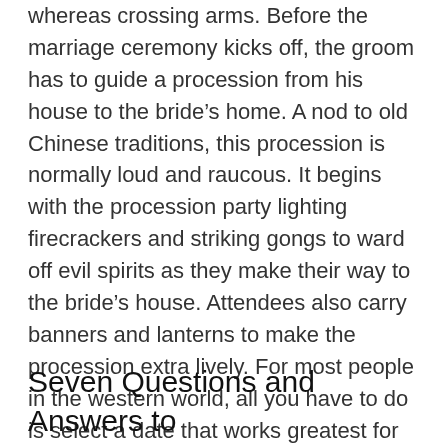whereas crossing arms. Before the marriage ceremony kicks off, the groom has to guide a procession from his house to the bride's home. A nod to old Chinese traditions, this procession is normally loud and raucous. It begins with the procession party lighting firecrackers and striking gongs to ward off evil spirits as they make their way to the bride's house. Attendees also carry banners and lanterns to make the procession extra lively. For most people in the western world, all you have to do is select a date that works greatest for you and your bride. However, when it comes to Chinese weddings, things are a bit different.
Seven Questions and Answers to